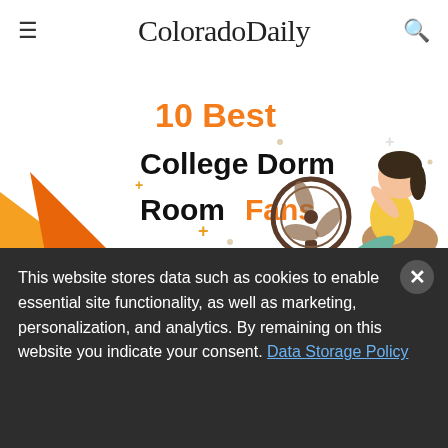ColoradoDaily
[Figure (illustration): Promotional banner illustration for '10 Best College Dorm Room Fans' showing orange star shapes on the left, text '10 Best College Dorm Room Fans' in black and orange, plus signs as decorative elements, and a cartoon girl sitting relaxed next to a desk fan with books around her on the right.]
10 Best Fans For Your Dorm Room (Recommended For College Students)
Some of the best dorm room fans include Lasko 3300
This website stores data such as cookies to enable essential site functionality, as well as marketing, personalization, and analytics. By remaining on this website you indicate your consent. Data Storage Policy